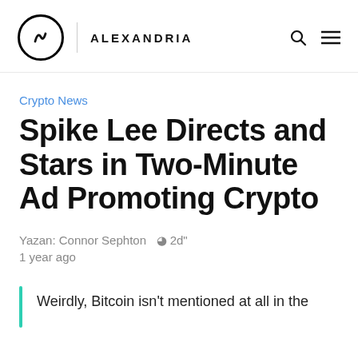CoinMarketCap ALEXANDRIA
Crypto News
Spike Lee Directs and Stars in Two-Minute Ad Promoting Crypto
Yazan: Connor Sephton  ⊙ 2d"  1 year ago
Weirdly, Bitcoin isn't mentioned at all in the